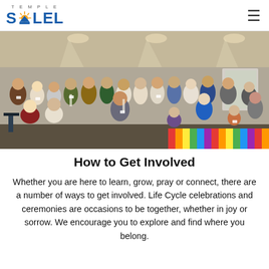TEMPLE SOLEL
[Figure (photo): Group photo of approximately 25 adults and one child wearing aprons and name tags, standing and sitting in front of a wall with spotlights overhead. A colorful striped tablecloth is visible in the foreground.]
How to Get Involved
Whether you are here to learn, grow, pray or connect, there are a number of ways to get involved. Life Cycle celebrations and ceremonies are occasions to be together, whether in joy or sorrow. We encourage you to explore and find where you belong.